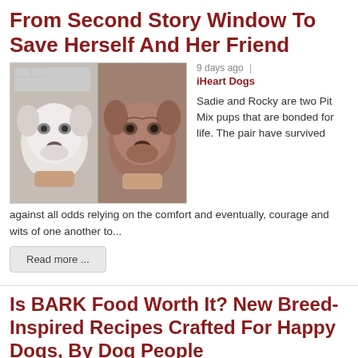From Second Story Window To Save Herself And Her Friend
[Figure (photo): Two Pit Mix puppies being held by a person; one white pup on the left and one brown/reddish pup on the right, both being bathed or cleaned.]
9 days ago  |  iHeart Dogs
Sadie and Rocky are two Pit Mix pups that are bonded for life. The pair have survived against all odds relying on the comfort and eventually, courage and wits of one another to...
Read more ...
Is BARK Food Worth It? New Breed-Inspired Recipes Crafted For Happy Dogs, By Dog People